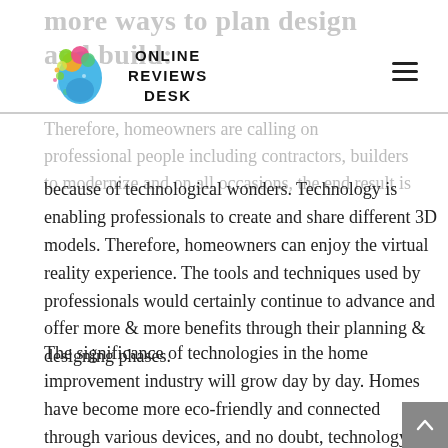more ways to plan design and build:
[Figure (logo): Online Reviews Desk logo — colorful brain/head silhouette with bubbles in green, orange, magenta, blue, and text ONLINE REVIEWS DESK]
Therefore, homeowners are calling on professional people including contractors, builders to modernize and on all occasions, the end result is because of technological wonders. Technology is enabling professionals to create and share different 3D models. Therefore, homeowners can enjoy the virtual reality experience. The tools and techniques used by professionals would certainly continue to advance and offer more & more benefits through their planning & designing phases.
The significance of technologies in the home improvement industry will grow day by day. Homes have become more eco-friendly and connected through various devices, and no doubt, technology is involved in making